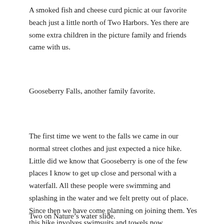A smoked fish and cheese curd picnic at our favorite beach just a little north of Two Harbors. Yes there are some extra children in the picture family and friends came with us.
Gooseberry Falls, another family favorite.
The first time we went to the falls we came in our normal street clothes and just expected a nice hike. Little did we know that Gooseberry is one of the few places I know to get up close and personal with a waterfall. All these people were swimming and splashing in the water and we felt pretty out of place. Since then we have come planning on joining them. Yes this hike involves swimsuits and towels now.
Two on Nature’s water slide.